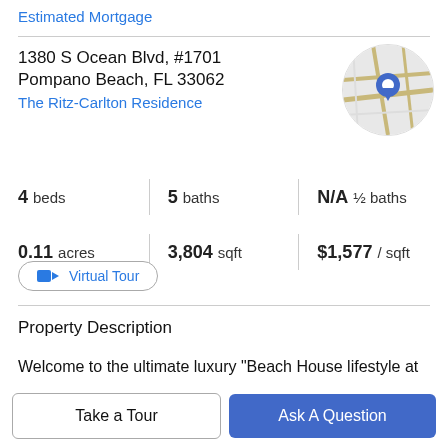Estimated Mortgage
1380 S Ocean Blvd, #1701
Pompano Beach, FL 33062
The Ritz-Carlton Residence
[Figure (map): Circular map thumbnail with blue location pin marker showing street map]
4 beds | 5 baths | N/A ½ baths
0.11 acres | 3,804 sqft | $1,577 / sqft
Virtual Tour
Property Description
Welcome to the ultimate luxury "Beach House lifestyle at The Ritz-Carlton Residences Pompano Beach! This
Take a Tour | Ask A Question
curated by Piero Lissoni. The residence comes complete